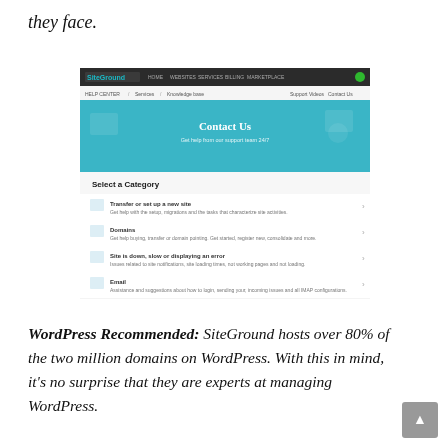they face.
[Figure (screenshot): Screenshot of SiteGround Help Center 'Contact Us' page showing a teal banner header with 'Contact Us' text and a 'Select a Category' section below listing categories like 'Transfer or set up a new site', 'Domains', 'Site is down, slow or displaying an error', 'Email', 'SSL', and 'Cancellation plans and services'.]
WordPress Recommended: SiteGround hosts over 80% of the two million domains on WordPress. With this in mind, it's no surprise that they are experts at managing WordPress.